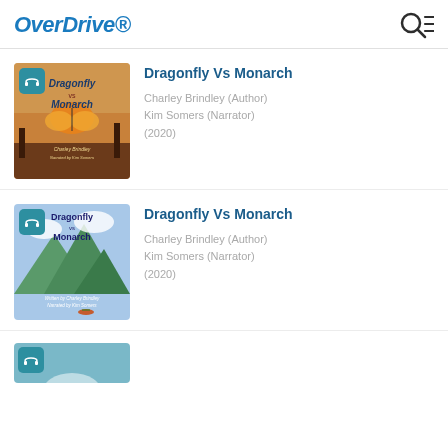OverDrive
[Figure (screenshot): OverDrive audiobook listing page showing two entries for 'Dragonfly Vs Monarch' by Charley Brindley, narrated by Kim Somers (2020), each with audiobook cover art and headphone badge icon.]
Dragonfly Vs Monarch
Charley Brindley (Author)
Kim Somers (Narrator)
(2020)
Dragonfly Vs Monarch
Charley Brindley (Author)
Kim Somers (Narrator)
(2020)